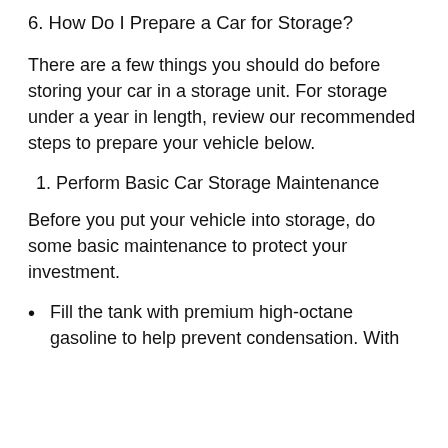6. How Do I Prepare a Car for Storage?
There are a few things you should do before storing your car in a storage unit. For storage under a year in length, review our recommended steps to prepare your vehicle below.
1. Perform Basic Car Storage Maintenance
Before you put your vehicle into storage, do some basic maintenance to protect your investment.
Fill the tank with premium high-octane gasoline to help prevent condensation. With